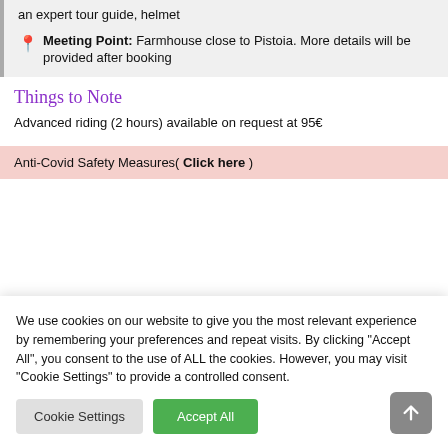an expert tour guide, helmet
Meeting Point: Farmhouse close to Pistoia. More details will be provided after booking
Things to Note
Advanced riding (2 hours) available on request at 95€
Anti-Covid Safety Measures( Click here )
We use cookies on our website to give you the most relevant experience by remembering your preferences and repeat visits. By clicking "Accept All", you consent to the use of ALL the cookies. However, you may visit "Cookie Settings" to provide a controlled consent.